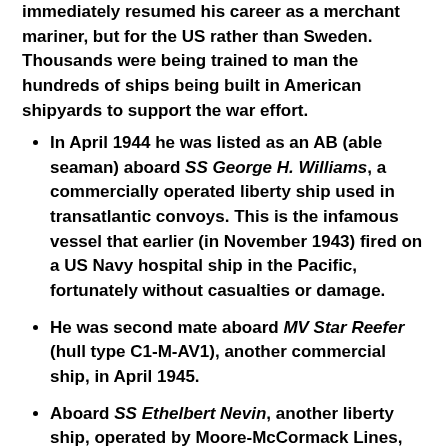immediately resumed his career as a merchant mariner, but for the US rather than Sweden. Thousands were being trained to man the hundreds of ships being built in American shipyards to support the war effort.
In April 1944 he was listed as an AB (able seaman) aboard SS George H. Williams, a commercially operated liberty ship used in transatlantic convoys. This is the infamous vessel that earlier (in November 1943) fired on a US Navy hospital ship in the Pacific, fortunately without casualties or damage.
He was second mate aboard MV Star Reefer (hull type C1-M-AV1), another commercial ship, in April 1945.
Aboard SS Ethelbert Nevin, another liberty ship, operated by Moore-McCormack Lines, Bondeson was first mate in 1947.
In 1948 Bondeson was first mate on coastal tanker USAT Y-66. This must have been about the